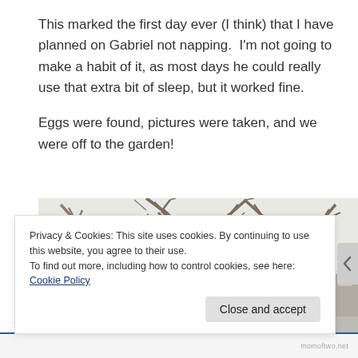This marked the first day ever (I think) that I have planned on Gabriel not napping.  I'm not going to make a habit of it, as most days he could really use that extra bit of sleep, but it worked fine.

Eggs were found, pictures were taken, and we were off to the garden!
[Figure (photo): Outdoor winter scene with bare deciduous trees against a pale sky; partial view of a structure on the right edge.]
Privacy & Cookies: This site uses cookies. By continuing to use this website, you agree to their use.
To find out more, including how to control cookies, see here: Cookie Policy